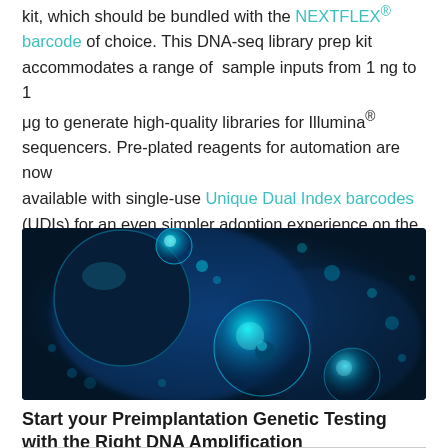kit, which should be bundled with the NEXTFLEX® barcode of choice. This DNA-seq library prep kit accommodates a range of sample inputs from 1 ng to 1 μg to generate high-quality libraries for Illumina® sequencers. Pre-plated reagents for automation are now available with single-use Unique Dual Index barcodes (UDIs) for an even simpler adoption experience on the PerkinElmer workstations.
[Figure (photo): Microscopy image of glowing blue-green circular cells or bubbles in a dark blue liquid background, suggesting biology or genetics laboratory imagery.]
Start your Preimplantation Genetic Testing with the Right DNA Amplification